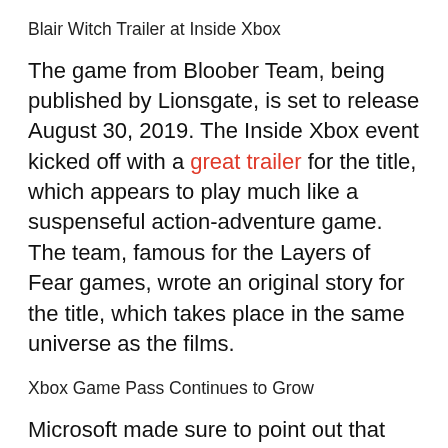Blair Witch Trailer at Inside Xbox
The game from Bloober Team, being published by Lionsgate, is set to release August 30, 2019. The Inside Xbox event kicked off with a great trailer for the title, which appears to play much like a suspenseful action-adventure game. The team, famous for the Layers of Fear games, wrote an original story for the title, which takes place in the same universe as the films.
Xbox Game Pass Continues to Grow
Microsoft made sure to point out that Xbox Game Pass is still thriving. Since E3, only weeks ago, the service added more than 22 titles, including same-day debuts, as well as series that players can experience ahead of new releases. For example, players getting excited about